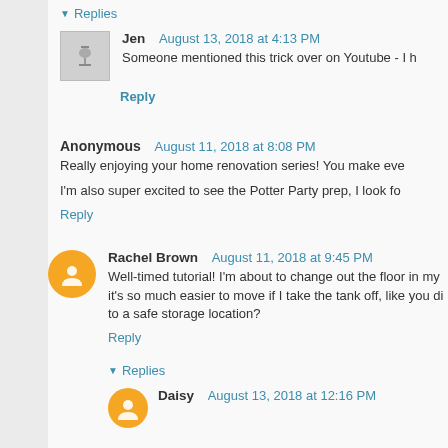Replies
Jen  August 13, 2018 at 4:13 PM
Someone mentioned this trick over on Youtube - I h
Reply
Anonymous  August 11, 2018 at 8:08 PM
Really enjoying your home renovation series! You make eve
I'm also super excited to see the Potter Party prep, I look fo
Reply
Rachel Brown  August 11, 2018 at 9:45 PM
Well-timed tutorial! I'm about to change out the floor in my it's so much easier to move if I take the tank off, like you di to a safe storage location?
Reply
Replies
Daisy  August 13, 2018 at 12:16 PM